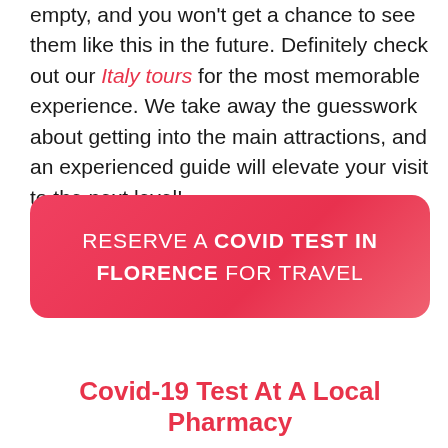empty, and you won't get a chance to see them like this in the future. Definitely check out our Italy tours for the most memorable experience. We take away the guesswork about getting into the main attractions, and an experienced guide will elevate your visit to the next level!
RESERVE A COVID TEST IN FLORENCE FOR TRAVEL
Covid-19 Test At A Local Pharmacy